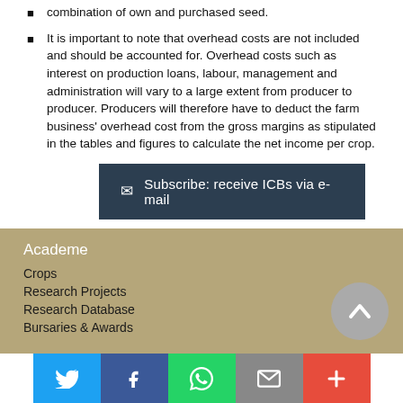combination of own and purchased seed.
It is important to note that overhead costs are not included and should be accounted for. Overhead costs such as interest on production loans, labour, management and administration will vary to a large extent from producer to producer. Producers will therefore have to deduct the farm business' overhead cost from the gross margins as stipulated in the tables and figures to calculate the net income per crop.
Subscribe: receive ICBs via e-mail
Academe
Crops
Research Projects
Research Database
Bursaries & Awards